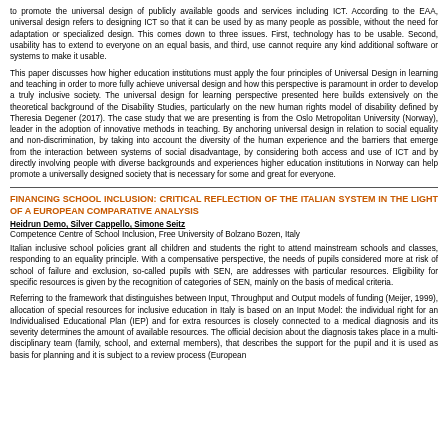to promote the universal design of publicly available goods and services including ICT. According to the EAA, universal design refers to designing ICT so that it can be used by as many people as possible, without the need for adaptation or specialized design. This comes down to three issues. First, technology has to be usable. Second, usability has to extend to everyone on an equal basis, and third, use cannot require any kind additional software or systems to make it usable.
This paper discusses how higher education institutions must apply the four principles of Universal Design in learning and teaching in order to more fully achieve universal design and how this perspective is paramount in order to develop a truly inclusive society. The universal design for learning perspective presented here builds extensively on the theoretical background of the Disability Studies, particularly on the new human rights model of disability defined by Theresia Degener (2017). The case study that we are presenting is from the Oslo Metropolitan University (Norway), leader in the adoption of innovative methods in teaching. By anchoring universal design in relation to social equality and non-discrimination, by taking into account the diversity of the human experience and the barriers that emerge from the interaction between systems of social disadvantage, by considering both access and use of ICT and by directly involving people with diverse backgrounds and experiences higher education institutions in Norway can help promote a universally designed society that is necessary for some and great for everyone.
FINANCING SCHOOL INCLUSION: CRITICAL REFLECTION OF THE ITALIAN SYSTEM IN THE LIGHT OF A EUROPEAN COMPARATIVE ANALYSIS
Heidrun Demo, Silver Cappello, Simone Seitz
Competence Centre of School Inclusion, Free University of Bolzano Bozen, Italy
Italian inclusive school policies grant all children and students the right to attend mainstream schools and classes, responding to an equality principle. With a compensative perspective, the needs of pupils considered more at risk of school of failure and exclusion, so-called pupils with SEN, are addresses with particular resources. Eligibility for specific resources is given by the recognition of categories of SEN, mainly on the basis of medical criteria.
Referring to the framework that distinguishes between Input, Throughput and Output models of funding (Meijer, 1999), allocation of special resources for inclusive education in Italy is based on an Input Model: the individual right for an Individualised Educational Plan (IEP) and for extra resources is closely connected to a medical diagnosis and its severity determines the amount of available resources. The official decision about the diagnosis takes place in a multi-disciplinary team (family, school, and external members), that describes the support for the pupil and it is used as basis for planning and it is subject to a review process (European